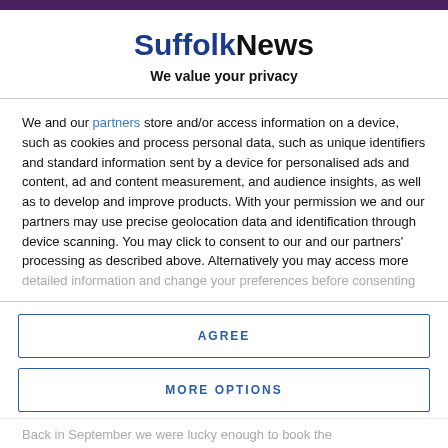SuffolkNews
We value your privacy
We and our partners store and/or access information on a device, such as cookies and process personal data, such as unique identifiers and standard information sent by a device for personalised ads and content, ad and content measurement, and audience insights, as well as to develop and improve products. With your permission we and our partners may use precise geolocation data and identification through device scanning. You may click to consent to our and our partners' processing as described above. Alternatively you may access more detailed information and change your preferences before consenting
AGREE
MORE OPTIONS
Back in September we were lucky enough to book the